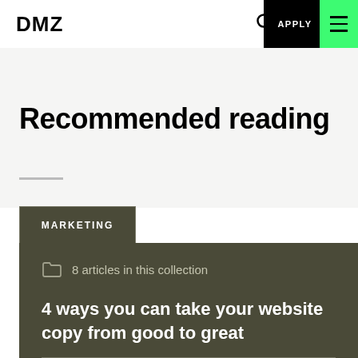DMZ | APPLY
Recommended reading
MARKETING
8 articles in this collection
4 ways you can take your website copy from good to great